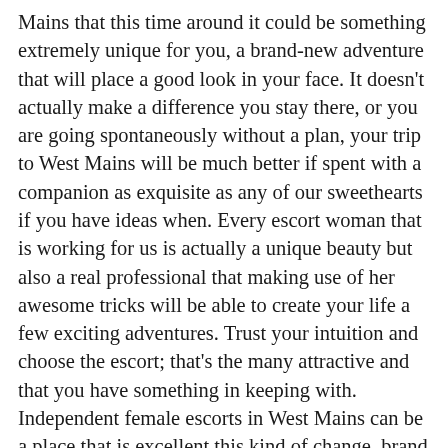Mains that this time around it could be something extremely unique for you, a brand-new adventure that will place a good look in your face. It doesn't actually make a difference you stay there, or you are going spontaneously without a plan, your trip to West Mains will be much better if spent with a companion as exquisite as any of our sweethearts if you have ideas when. Every escort woman that is working for us is actually a unique beauty but also a real professional that making use of her awesome tricks will be able to create your life a few exciting adventures. Trust your intuition and choose the escort; that's the many attractive and that you have something in keeping with. Independent female escorts in West Mains can be a place that is excellent this kind of change, brand new course inside your life, which will let you regain your childhood and power.